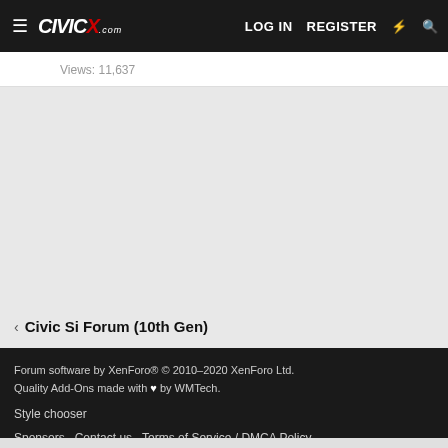≡ CIVICX.com  LOG IN  REGISTER
Views: 11,637
< Civic Si Forum (10th Gen)
Forum software by XenForo® © 2010-2020 XenForo Ltd. Quality Add-Ons made with ♥ by WMTech. Style chooser Sponsors  Contact us  Terms of Service / DMCA Policy  Privacy policy  Help